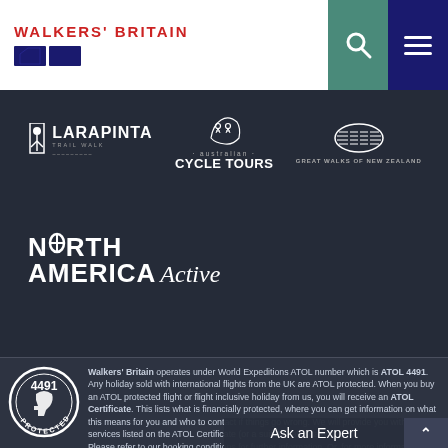[Figure (logo): Walkers Britain logo with red text and navy blue boot icons]
[Figure (logo): Search icon (magnifying glass) in teal/green square]
[Figure (logo): Hamburger menu icon in navy blue square]
[Figure (logo): Larapinta Trail Walk logo - white text on dark background]
[Figure (logo): Australian Cycle Tours logo - cyclists icon with text]
[Figure (logo): Great Walks of New Zealand logo - footprint icon]
[Figure (logo): North America Active logo - bold white text]
[Figure (logo): ATOL 4491 Protected badge - circular certification seal]
Walkers' Britain operates under World Expeditions ATOL number which is ATOL 4491. Any holiday sold with international flights from the UK are ATOL protected. When you buy an ATOL protected flight or flight inclusive holiday from us, you will receive an ATOL Certificate. This lists what is financially protected, where you can get information on what this means for you and who to contact if things go wrong. We will provide you with the services listed on the ATOL Certificate (or a suitable alternative).
Please refer to our booking conditions for further information. Or, for more information about financial protection and the ATOL Certificate - please visit www.packpeaceofmind.co.uk
Ask an Expert